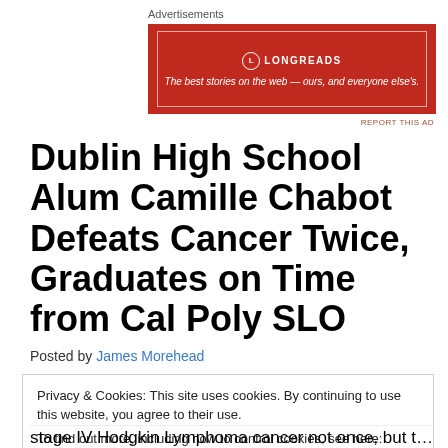Advertisements
[Figure (other): Longreads advertisement banner: red background with white border and text 'LONGREADS — The best stories on the web — ours, and everyone else's.']
REPORT THIS AD
Dublin High School Alum Camille Chabot Defeats Cancer Twice, Graduates on Time from Cal Poly SLO
Posted by James Morehead
Privacy & Cookies: This site uses cookies. By continuing to use this website, you agree to their use.
To find out more, including how to control cookies, see here: Cookie Policy
stage IV Hodgkin Lymphoma cancer not once, but twice